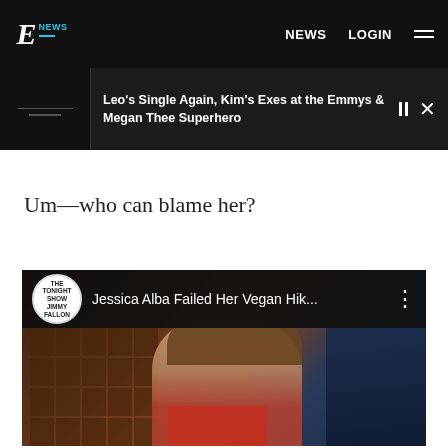E! NEWS  NEWS  LOGIN
Leo's Single Again, Kim's Exes at the Emmys & Megan Thee Superhero
Um—who can blame her?
[Figure (screenshot): YouTube video embed showing 'Jessica Alba Failed Her Vegan Hik...' from The Tonight Show Starring Jimmy Fallon, with Jessica Alba visible in the video thumbnail]